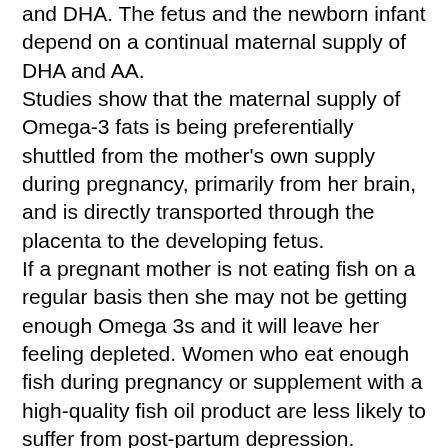and DHA. The fetus and the newborn infant depend on a continual maternal supply of DHA and AA. Studies show that the maternal supply of Omega-3 fats is being preferentially shuttled from the mother's own supply during pregnancy, primarily from her brain, and is directly transported through the placenta to the developing fetus. If a pregnant mother is not eating fish on a regular basis then she may not be getting enough Omega 3s and it will leave her feeling depleted. Women who eat enough fish during pregnancy or supplement with a high-quality fish oil product are less likely to suffer from post-partum depression. Several clinical trials have demonstrated that children of women who took fish oil supplementation during pregnancy and while nursing had higher IQs than children whose mothers received a placebo. Additionally, researchers found that women who ate less than 12 ounces of fish or other seafood a week while pregnant were more